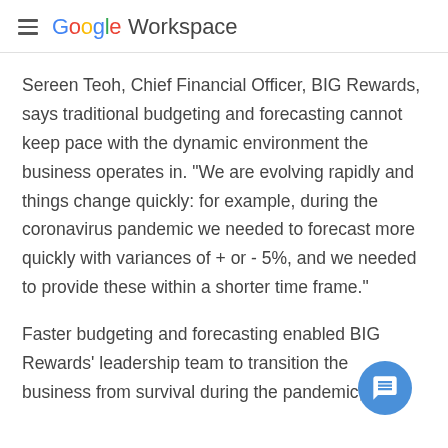Google Workspace
Sereen Teoh, Chief Financial Officer, BIG Rewards, says traditional budgeting and forecasting cannot keep pace with the dynamic environment the business operates in. “We are evolving rapidly and things change quickly: for example, during the coronavirus pandemic we needed to forecast more quickly with variances of + or - 5%, and we needed to provide these within a shorter time frame.”
Faster budgeting and forecasting enabled BIG Rewards’ leadership team to transition the business from survival during the pandemic, to